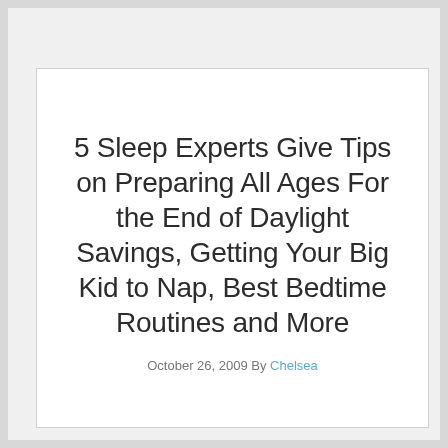5 Sleep Experts Give Tips on Preparing All Ages For the End of Daylight Savings, Getting Your Big Kid to Nap, Best Bedtime Routines and More
October 26, 2009 By Chelsea